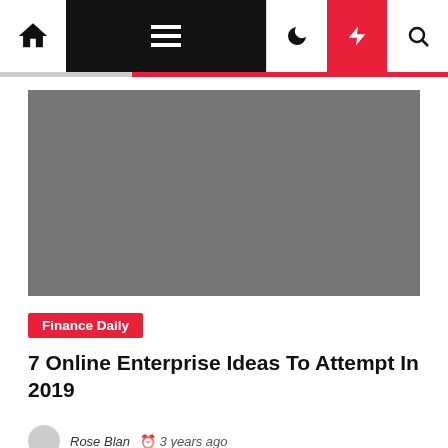Finance Daily - Navigation bar with home, menu, dark mode, lightning, and search icons
[Figure (photo): Gray placeholder image for article hero image]
Finance Daily
7 Online Enterprise Ideas To Attempt In 2019
Rose Blan  3 years ago